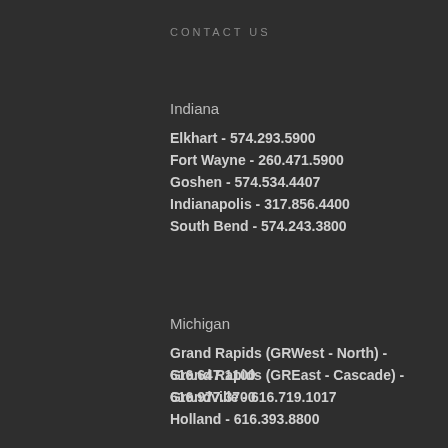CONTACT US
Indiana
Elkhart - 574.293.5900
Fort Wayne - 260.471.5900
Goshen - 574.534.4407
Indianapolis - 317.856.4400
South Bend - 574.243.3800
Michigan
Grand Rapids (GRWest - North) - 616.647.1100
Grand Rapids (GREast - Cascade) - 616.977.3700
Grandville - 616.719.1017
Holland - 616.393.8800
Livonia - 734.458.7300
Muskegon - 231.799.2100